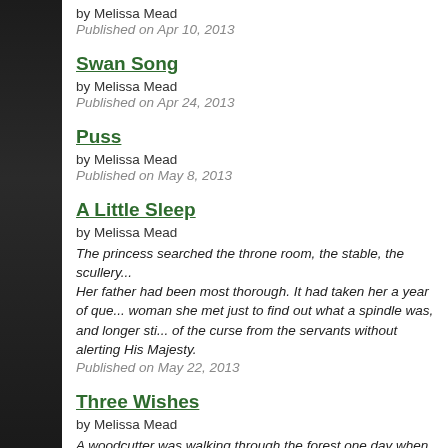by Melissa Mead
Published on Apr 10, 2013
Swan Song
by Melissa Mead
Published on Apr 24, 2013
Puss
by Melissa Mead
Published on May 8, 2013
A Little Sleep
by Melissa Mead
The princess searched the throne room, the stable, the scullery... Her father had been most thorough. It had taken her a year of que... woman she met just to find out what a spindle was, and longer sti... of the curse from the servants without alerting His Majesty.
Published on May 22, 2013
Three Wishes
by Melissa Mead
A woodcutter was walking through the forest one day when he he...